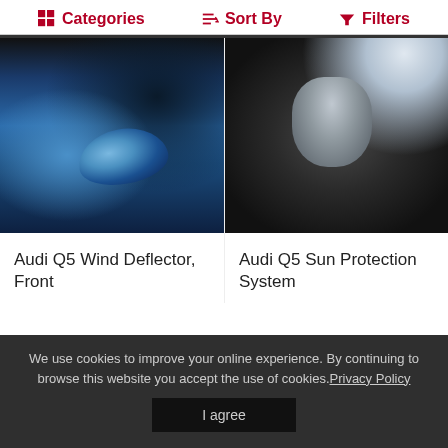Categories | Sort By | Filters
[Figure (photo): Blue Audi Q5 exterior showing the driver door window area with wind deflectors, side mirror visible in foreground]
[Figure (photo): Audi Q5 interior rear seat area showing sun protection system on side window, monochrome/dark lighting]
Audi Q5 Wind Deflector, Front
Audi Q5 Sun Protection System
We use cookies to improve your online experience. By continuing to browse this website you accept the use of cookies. Privacy Policy
I agree